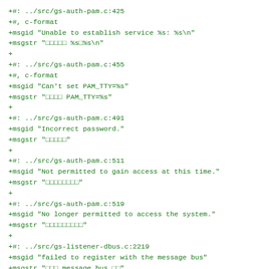+#: ../src/gs-auth-pam.c:425
+#, c-format
+msgid "Unable to establish service %s: %s\n"
+msgstr "□□□□□ %s□%s\n"
+
+#: ../src/gs-auth-pam.c:455
+#, c-format
+msgid "Can't set PAM_TTY=%s"
+msgstr "□□□□ PAM_TTY=%s"
+
+#: ../src/gs-auth-pam.c:491
+msgid "Incorrect password."
+msgstr "□□□□□"
+
+#: ../src/gs-auth-pam.c:511
+msgid "Not permitted to gain access at this time."
+msgstr "□□□□□□□□"
+
+#: ../src/gs-auth-pam.c:519
+msgid "No longer permitted to access the system."
+msgstr "□□□□□□□□□"
+
+#: ../src/gs-listener-dbus.c:2219
+msgid "failed to register with the message bus"
+msgstr "□□□ message bus □□"
+
+#: ../src/gs-listener-dbus.c:2230
+msgid "not connected to the message bus"
+msgstr "□□□□□ message bus"
+